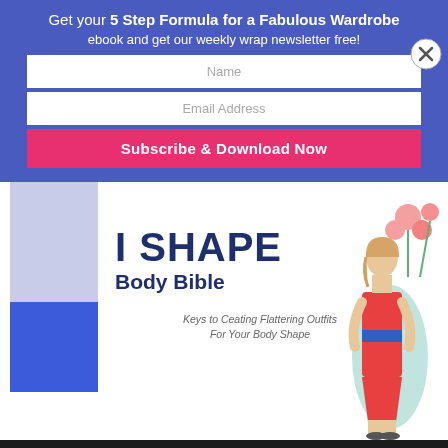Get your 5 Step Formula for a Fabulous Wardrobe ebook and get our weekly wrap newsletter free!
[Figure (screenshot): Email subscription form with Name and Email Address input fields, and a pink Subscribe & Download Now button, on a blue background. A close (X) button is on the right.]
[Figure (illustration): I SHAPE Body Bible ebook cover showing a woman in a red dress, decorative blue bars on the left, flowers, and the tagline 'Keys to Creating Flattering Outfits For Your Body Shape'.]
× w°